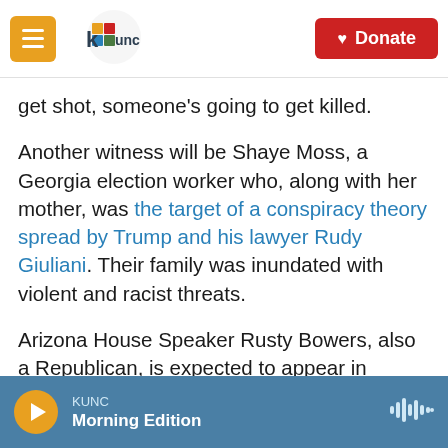KUNC — Donate
get shot, someone's going to get killed.
Another witness will be Shaye Moss, a Georgia election worker who, along with her mother, was the target of a conspiracy theory spread by Trump and his lawyer Rudy Giuliani. Their family was inundated with violent and racist threats.
Arizona House Speaker Rusty Bowers, also a Republican, is expected to appear in person, as well, to tell how he came under direct pressure from Trump and Giuliani.
Tuesday's hearing is expected to be led by Rep.
KUNC — Morning Edition